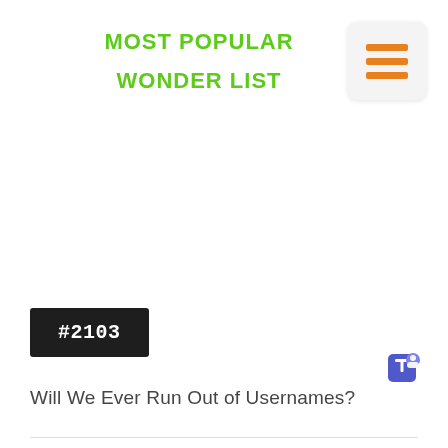MOST POPULAR
WONDER LIST
[Figure (infographic): Hamburger menu icon with three orange horizontal bars on a light gray rounded square background]
#2103
[Figure (logo): Microsoft Teams logo icon in blue and purple]
Will We Ever Run Out of Usernames?